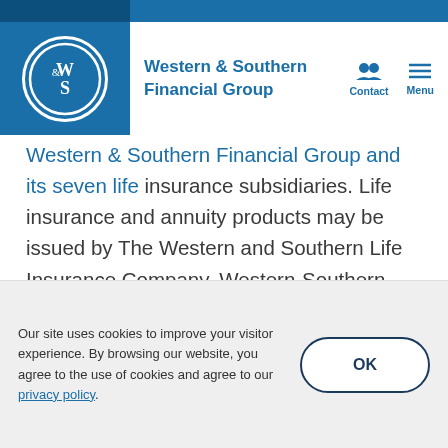Western & Southern Financial Group
Western & Southern Financial Group and its seven life insurance subsidiaries. Life insurance and annuity products may be issued by The Western and Southern Life Insurance Company, Western-Southern Life Assurance Company, Columbus Life Insurance Company, Integrity Life Insurance Company, The Lafayette Life Insurance Company, National Integrity Life Insurance Company or Gerber Life Insurance Company. Products and services referenced in this website are provided through multiple companies. Each
Our site uses cookies to improve your visitor experience. By browsing our website, you agree to the use of cookies and agree to our privacy policy.